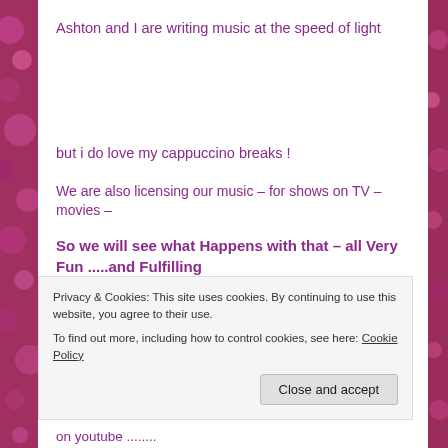Ashton and I are writing music at the speed of light
but i do love my cappuccino breaks !
We are also licensing our music – for shows on TV – movies –
So we will see what Happens with that – all Very Fun .....and Fulfilling
Privacy & Cookies: This site uses cookies. By continuing to use this website, you agree to their use.
To find out more, including how to control cookies, see here: Cookie Policy
on youtube ........